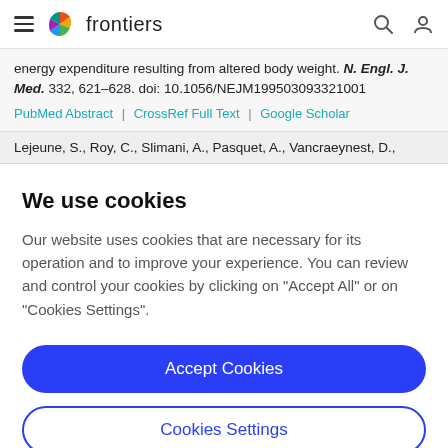frontiers
energy expenditure resulting from altered body weight. N. Engl. J. Med. 332, 621–628. doi: 10.1056/NEJM199503093321001
PubMed Abstract | CrossRef Full Text | Google Scholar
Lejeune, S., Roy, C., Slimani, A., Pasquet, A., Vancraeynest, D.,
We use cookies
Our website uses cookies that are necessary for its operation and to improve your experience. You can review and control your cookies by clicking on "Accept All" or on "Cookies Settings".
Accept Cookies
Cookies Settings